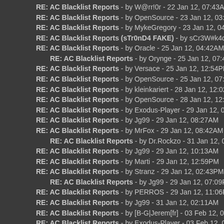RE: AC Blacklist Reports - by W@rr!0r - 22 Jan 12, 07:43AM
RE: AC Blacklist Reports - by OpenSource - 23 Jan 12, 03:22AM
RE: AC Blacklist Reports - by MykeGregory - 23 Jan 12, 04:13PM
RE: AC Blacklist Reports (sTr0nD4 FAKE) - by sCr3W#k4d4v3r' - 25 Jan 12, 0
RE: AC Blacklist Reports - by Oracle - 25 Jan 12, 04:42AM
RE: AC Blacklist Reports - by Orynge - 25 Jan 12, 07:43AM
RE: AC Blacklist Reports - by Versace - 25 Jan 12, 12:54PM
RE: AC Blacklist Reports - by OpenSource - 25 Jan 12, 07:06PM
RE: AC Blacklist Reports - by kleinkariert - 28 Jan 12, 12:02AM
RE: AC Blacklist Reports - by OpenSource - 28 Jan 12, 12:39AM
RE: AC Blacklist Reports - by Exodus-Player - 29 Jan 12, 03:26AM
RE: AC Blacklist Reports - by Jg99 - 29 Jan 12, 08:27AM
RE: AC Blacklist Reports - by MrFox - 29 Jan 12, 08:42AM
RE: AC Blacklist Reports - by Dr.Rockzo - 31 Jan 12, 03:40AM
RE: AC Blacklist Reports - by Jg99 - 29 Jan 12, 10:13AM
RE: AC Blacklist Reports - by Marti - 29 Jan 12, 12:59PM
RE: AC Blacklist Reports - by Stranz - 29 Jan 12, 02:43PM
RE: AC Blacklist Reports - by Jg99 - 29 Jan 12, 07:09PM
RE: AC Blacklist Reports - by PERROS - 29 Jan 12, 11:06PM
RE: AC Blacklist Reports - by Jg99 - 31 Jan 12, 02:11AM
RE: AC Blacklist Reports - by [B-G|Jerem[fr] - 03 Feb 12, 08:12PM
RE: AC Blacklist Reports - by Exodus-Player - 03 Feb 12, 08:27PM
shanet - by CharlyMurphie - 04 Feb 12, 07:50AM
RE: AC Blacklist Reports - by Exodus-Player - 05 Feb 12, 05:18AM
RE: AC Blacklist Reports - by OpenSource - 05 Feb 12, 02:06PM